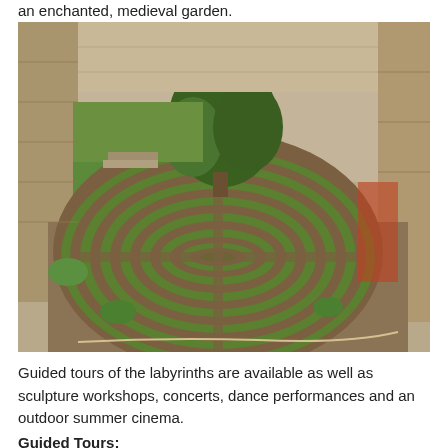an enchanted, medieval garden.
[Figure (photo): Aerial view of a circular stone labyrinth with green hedges and a tree in the center, surrounded by ancient stone walls. The labyrinth is set in a rocky quarry-like environment.]
Guided tours of the labyrinths are available as well as sculpture workshops, concerts, dance performances and an outdoor summer cinema.
Guided Tours: